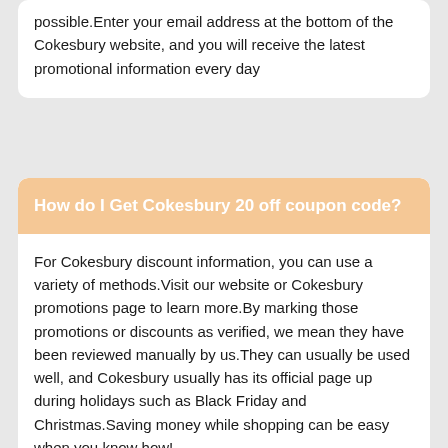possible.Enter your email address at the bottom of the Cokesbury website, and you will receive the latest promotional information every day
How do I Get Cokesbury 20 off coupon code?
For Cokesbury discount information, you can use a variety of methods.Visit our website or Cokesbury promotions page to learn more.By marking those promotions or discounts as verified, we mean they have been reviewed manually by us.They can usually be used well, and Cokesbury usually has its official page up during holidays such as Black Friday and Christmas.Saving money while shopping can be easy when you know how!